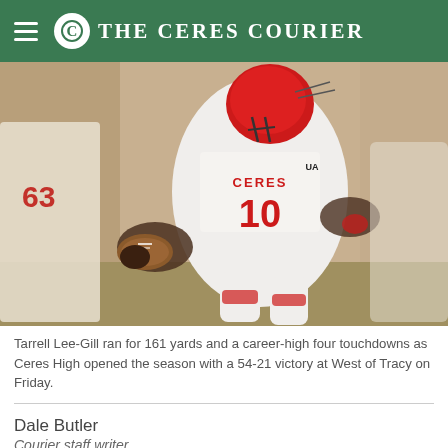The Ceres Courier
[Figure (photo): Football player wearing Ceres #10 jersey in white uniform with red numbers, running with the ball during a night game. Player #63 visible in background.]
Tarrell Lee-Gill ran for 161 yards and a career-high four touchdowns as Ceres High opened the season with a 54-21 victory at West of Tracy on Friday.
Dale Butler
Courier staff writer